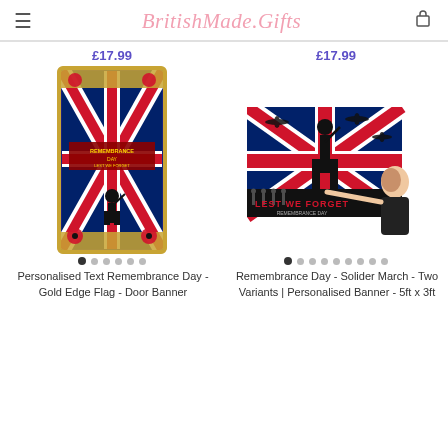BritishMade.Gifts
£17.99
£17.99
[Figure (photo): Personalised Text Remembrance Day Gold Edge Flag Door Banner - Union Jack flag with soldier silhouette and poppies]
[Figure (photo): Remembrance Day Soldier March Two Variants Personalised Banner 5ft x 3ft - Union Jack flag with soldier silhouette and Lest We Forget text, woman presenting the banner]
Personalised Text Remembrance Day - Gold Edge Flag - Door Banner
Remembrance Day - Solider March - Two Variants | Personalised Banner - 5ft x 3ft